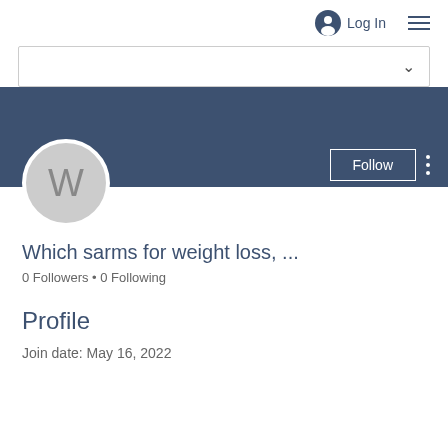Log In
[Figure (screenshot): User profile page screenshot showing a dropdown bar, dark blue banner header, circular avatar with letter W, Follow button, user name 'Which sarms for weight loss, ...', follower stats, Profile section header, and join date.]
Which sarms for weight loss, ...
0 Followers • 0 Following
Profile
Join date: May 16, 2022